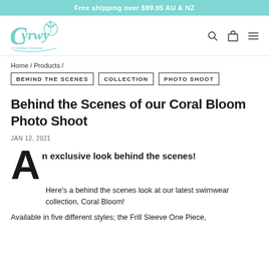Free shipping over $99.95 AU & NZ
[Figure (logo): Curvy by Caribbean Swimwear teal logo with palm tree]
Home / Products /
BEHIND THE SCENES
COLLECTION
PHOTO SHOOT
Behind the Scenes of our Coral Bloom Photo Shoot
JAN 12, 2021
An exclusive look behind the scenes!
Here's a behind the scenes look at our latest swimwear collection, Coral Bloom!
Available in five different styles; the Frill Sleeve One Piece,